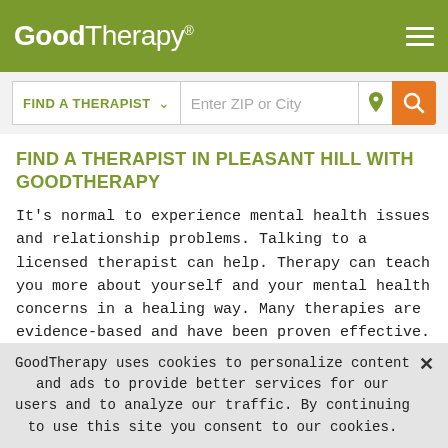GoodTherapy®
[Figure (screenshot): GoodTherapy website header with logo and hamburger menu on olive green background, with search bar below containing 'FIND A THERAPIST' dropdown and 'Enter ZIP or City' input with orange search button]
FIND A THERAPIST IN PLEASANT HILL WITH GOODTHERAPY
It's normal to experience mental health issues and relationship problems. Talking to a licensed therapist can help. Therapy can teach you more about yourself and your mental health concerns in a healing way. Many therapies are evidence-based and have been proven effective.
Since 2007, GoodTherapy has helped people like you connect with ethical, compassionate counselors and therapists. The
GoodTherapy uses cookies to personalize content and ads to provide better services for our users and to analyze our traffic. By continuing to use this site you consent to our cookies. ✕